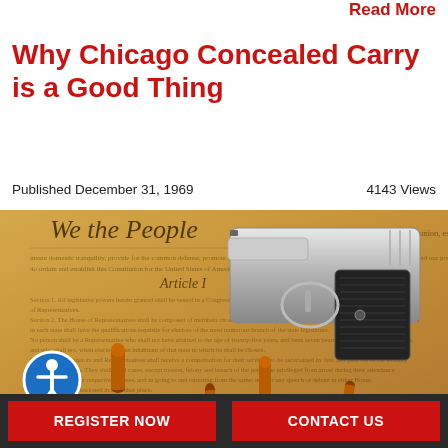Read More
Why Chicago Concealed Carry is a Good Thing
Published December 31, 1969    4143 Views
[Figure (photo): A silver handgun with black grip resting on a weathered parchment copy of the U.S. Constitution (We the People visible), surrounded by several copper-jacketed bullets. A blue accessibility icon button is visible in the bottom-left corner of the image.]
REGISTER NOW   CONTACT US